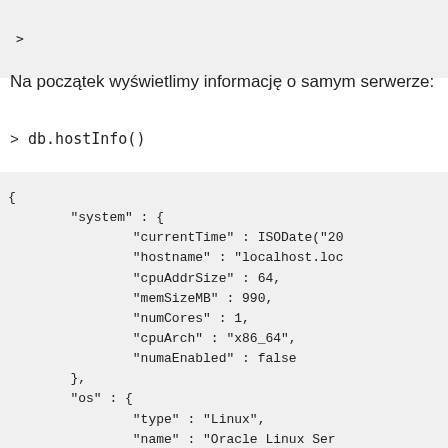>
Na początek wyświetlimy informację o samym serwerze:
> db.hostInfo()
{
        "system" : {
                "currentTime" : ISODate("20
                "hostname" : "localhost.loc
                "cpuAddrSize" : 64,
                "memSizeMB" : 990,
                "numCores" : 1,
                "cpuArch" : "x86_64",
                "numaEnabled" : false
        },
        "os" : {
                "type" : "Linux",
                "name" : "Oracle Linux Ser